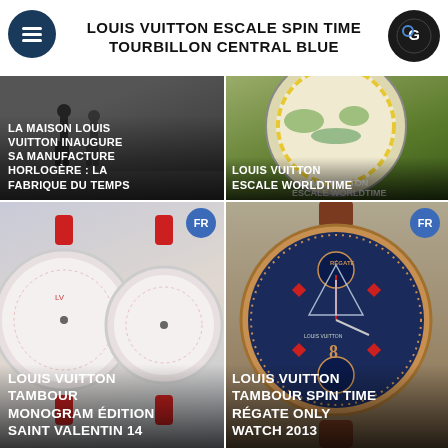LOUIS VUITTON ESCALE SPIN TIME TOURBILLON CENTRAL BLUE
[Figure (photo): Black and white photo of people walking, Louis Vuitton watch manufacture inauguration]
LA MAISON LOUIS VUITTON INAUGURE SA MANUFACTURE HORLOGÈRE : LA FABRIQUE DU TEMPS
[Figure (photo): Louis Vuitton Escale Worldtime watch with colorful world map dial]
LOUIS VUITTON ESCALE WORLDTIME
[Figure (photo): Two Louis Vuitton Tambour Monogram Edition watches with red crocodile straps and patterned dials, FR badge]
LOUIS VUITTON TAMBOUR MONOGRAM ÉDITION SAINT VALENTIN 14
[Figure (photo): Louis Vuitton Tambour Spin Time Régate Only Watch 2013, nautical themed dark blue dial with rose gold case, FR badge]
LOUIS VUITTON TAMBOUR SPIN TIME RÉGATE ONLY WATCH 2013
[Figure (photo): Louis Vuitton watch with blue dial, partial view, FR badge]
[Figure (photo): Louis Vuitton LV 277 watch with brown dial showing 12 at top]